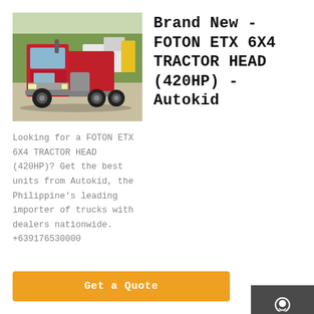[Figure (photo): Red FOTON ETX 6X4 tractor head truck parked outdoors, with other trucks in background]
Brand New - FOTON ETX 6X4 TRACTOR HEAD (420HP) - Autokid
Looking for a FOTON ETX 6X4 TRACTOR HEAD (420HP)? Get the best units from Autokid, the Philippine's leading importer of trucks with dealers nationwide. +639176530000
Get a Quote